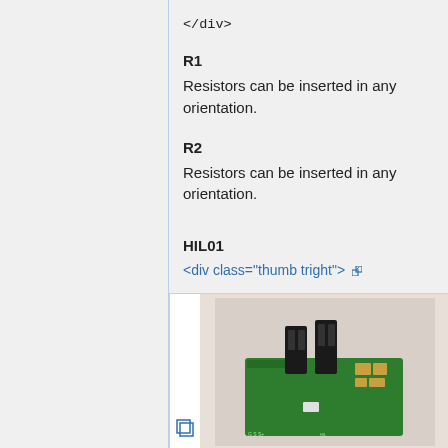</div>
R1
Resistors can be inserted in any orientation.
R2
Resistors can be inserted in any orientation.
HIL01
<div class="thumb tright">
[Figure (photo): Photo of a green PCB circuit board with black connectors/sensors mounted on top, labeled HIL01 component]